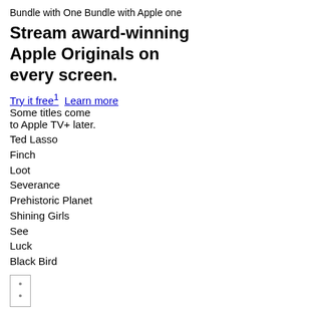Bundle with One Bundle with Apple one
Stream award-winning Apple Originals on every screen.
Try it free¹ Learn more
Some titles come to Apple TV+ later.
Ted Lasso
Finch
Loot
Severance
Prehistoric Planet
Shining Girls
See
Luck
Black Bird
[Figure (other): Small rectangular UI element with two dots]